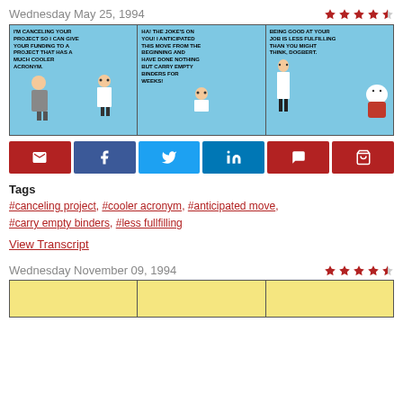Wednesday May 25, 1994
[Figure (illustration): Rating: 4 out of 5 stars (4 filled stars, 1 half/empty star)]
[Figure (illustration): Dilbert comic strip for May 25, 1994: Panel 1 - Boss says 'I'M CANCELING YOUR PROJECT SO I CAN GIVE YOUR FUNDING TO A PROJECT THAT HAS A MUCH COOLER ACRONYM.' Panel 2 - Dilbert says 'HA! THE JOKE'S ON YOU! I ANTICIPATED THIS MOVE FROM THE BEGINNING AND HAVE DONE NOTHING BUT CARRY EMPTY BINDERS FOR WEEKS!' Panel 3 - Dogbert/character says 'BEING GOOD AT YOUR JOB IS LESS FULFILLING THAN YOU MIGHT THINK, DOGBERT.']
[Figure (illustration): Social sharing buttons: Email (red), Facebook (blue), Twitter (light blue), LinkedIn (dark blue), Comment (red), Cart (red)]
Tags
#canceling project, #cooler acronym, #anticipated move, #carry empty binders, #less fullfilling
View Transcript
Wednesday November 09, 1994
[Figure (illustration): Rating: 4 out of 5 stars for November 09, 1994 comic]
[Figure (illustration): Dilbert comic strip for November 09, 1994 (partially visible, yellow background panels)]